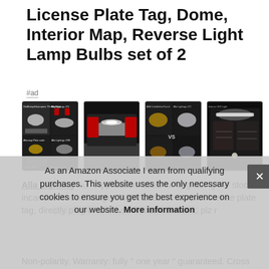License Plate Tag, Dome, Interior Map, Reverse Light Lamp Bulbs set of 2
#ad
[Figure (photo): Four product photos showing LED light bulb installations in a car: collage of multiple views, license plate lights at rear of car, headlight/interior comparisons, and interior lighting details.]
Alla Lighting #ad - Application: used for upgrading the stock incandescent or halogen W5W 168 194 lamp of license plate tag, dome, interior map, reverse light. Please directly plug-in to the socket and that is it. plz r...
As an Amazon Associate I earn from qualifying purchases. This website uses the only necessary cookies to ensure you get the best experience on our website. More information
Non-polarity. Warranty: fully " one year " guaranteed. Cross